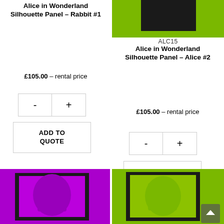Alice in Wonderland Silhouette Panel – Rabbit #1
£105.00 - rental price
- +
ADD TO QUOTE
[Figure (photo): Green background photo with black silhouette panel - ALC15]
ALC15
Alice in Wonderland Silhouette Panel – Alice #2
£105.00 - rental price
- +
ADD TO QUOTE
[Figure (photo): Purple background photo with Alice in Wonderland illustration panel]
[Figure (photo): Green background photo with Alice in Wonderland illustration panel]